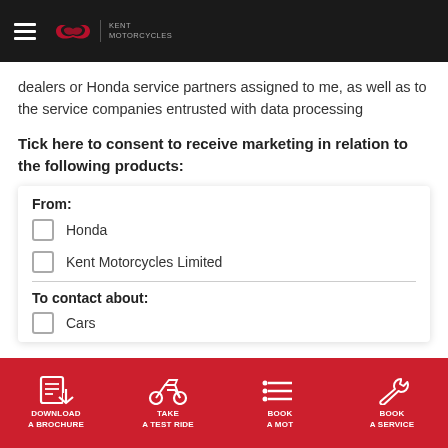Honda | Kent Motorcycles
dealers or Honda service partners assigned to me, as well as to the service companies entrusted with data processing
Tick here to consent to receive marketing in relation to the following products:
From:
☐ Honda
☐ Kent Motorcycles Limited
To contact about:
☐ Cars
DOWNLOAD A BROCHURE  TAKE A TEST RIDE  BOOK A MOT  BOOK A SERVICE